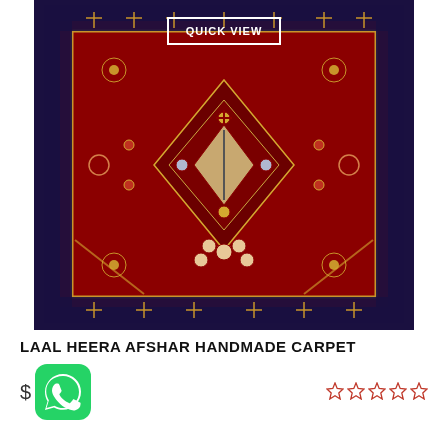[Figure (photo): Persian/Afshar style handmade carpet with deep red background, geometric diamond medallion patterns, floral motifs, and dark navy border with gold accents. A 'QUICK VIEW' button overlay appears at the top center.]
LAAL HEERA AFSHAR HANDMADE CARPET
$
[Figure (logo): WhatsApp green logo icon]
☆☆☆☆☆ (star rating, all empty/outline stars in red/orange color)